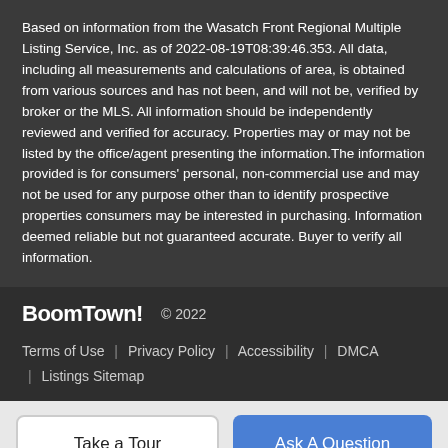Based on information from the Wasatch Front Regional Multiple Listing Service, Inc. as of 2022-08-19T08:39:46.353. All data, including all measurements and calculations of area, is obtained from various sources and has not been, and will not be, verified by broker or the MLS. All information should be independently reviewed and verified for accuracy. Properties may or may not be listed by the office/agent presenting the information.The information provided is for consumers' personal, non-commercial use and may not be used for any purpose other than to identify prospective properties consumers may be interested in purchasing. Information deemed reliable but not guaranteed accurate. Buyer to verify all information.
BoomTown! © 2022 | Terms of Use | Privacy Policy | Accessibility | DMCA | Listings Sitemap
Take a Tour
Ask A Question